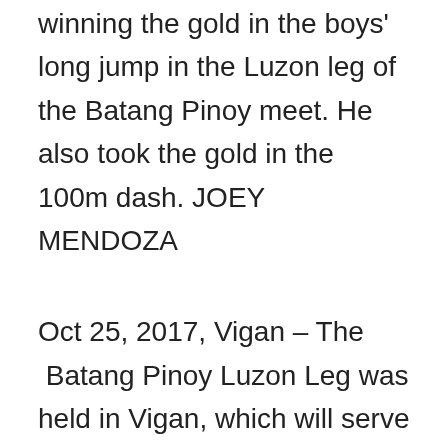winning the gold in the boys' long jump in the Luzon leg of the Batang Pinoy meet. He also took the gold in the 100m dash. JOEY MENDOZA
Oct 25, 2017, Vigan – The  Batang Pinoy Luzon Leg was held in Vigan, which will serve as a dress rehearsal for the Palarong Pambansa 2018 to be held next year.
Jason Jabol, 14 (Nov 7, 2002, as per Batang Pinoy 2016 Entries) of Dasmariñas, 11.35